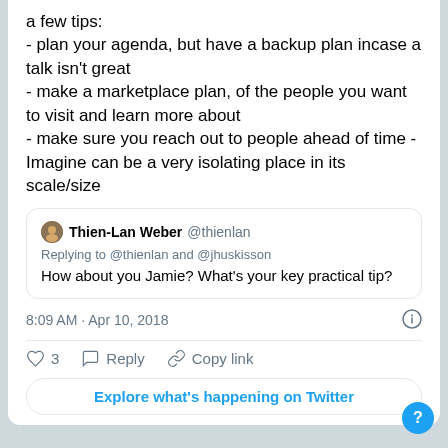a few tips:
- plan your agenda, but have a backup plan incase a talk isn't great
- make a marketplace plan, of the people you want to visit and learn more about
- make sure you reach out to people ahead of time - Imagine can be a very isolating place in its scale/size
Thien-Lan Weber @thienlan
Replying to @thienlan and @jhuskisson
How about you Jamie? What's your key practical tip?
8:09 AM · Apr 10, 2018
3  Reply  Copy link
Explore what's happening on Twitter